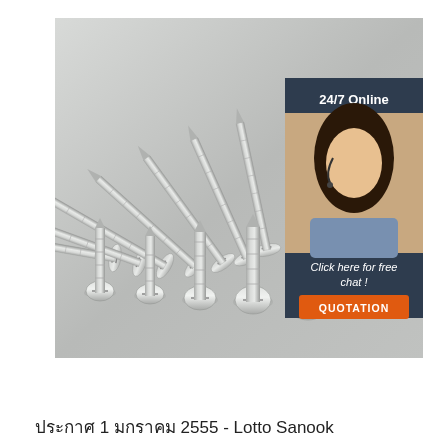[Figure (photo): Photo of multiple silver/zinc-plated screws arranged in a fan pattern (flat-head screws fanned out at top) and a row of round-head screws at the bottom, on a light grey background. An overlay panel on the right shows a customer service agent (woman with headset) with text '24/7 Online', 'Click here for free chat!', and an orange 'QUOTATION' button on a dark navy background.]
ประกาศ 1 มกราคม 2555 - Lotto Sanook